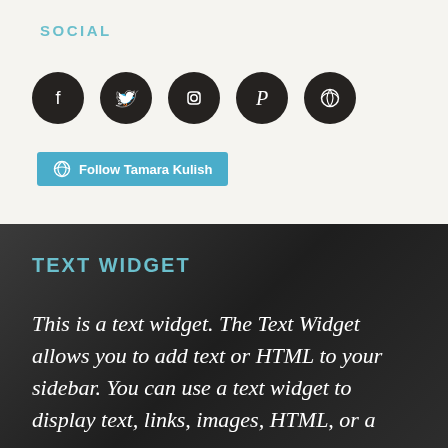SOCIAL
[Figure (infographic): Five social media icon circles (Facebook, Twitter, Instagram, Pinterest, WordPress) in dark circular buttons on a light background]
Follow Tamara Kulish
TEXT WIDGET
This is a text widget. The Text Widget allows you to add text or HTML to your sidebar. You can use a text widget to display text, links, images, HTML, or a